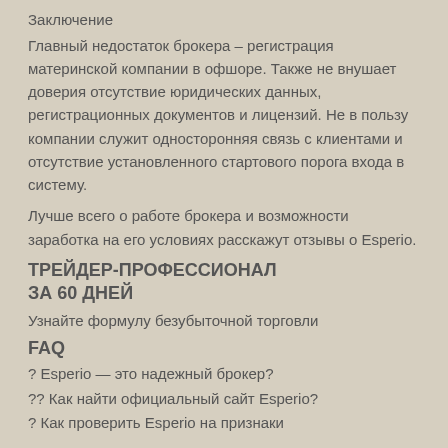Заключение
Главный недостаток брокера – регистрация материнской компании в офшоре. Также не внушает доверия отсутствие юридических данных, регистрационных документов и лицензий. Не в пользу компании служит односторонняя связь с клиентами и отсутствие установленного стартового порога входа в систему.
Лучше всего о работе брокера и возможности заработка на его условиях расскажут отзывы о Esperio.
ТРЕЙДЕР-ПРОФЕССИОНАЛ ЗА 60 ДНЕЙ
Узнайте формулу безубыточной торговли
FAQ
? Esperio — это надежный брокер?
?? Как найти официальный сайт Esperio?
? Как проверить Esperio на признаки